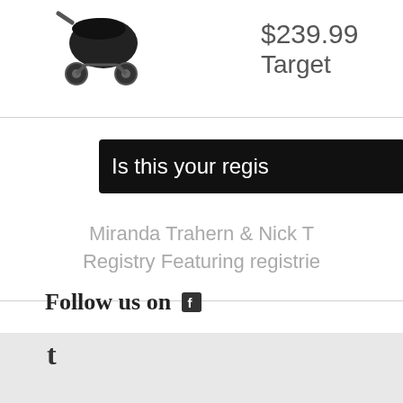[Figure (photo): Baby stroller product image, black color, top portion visible]
$239.99
Target
Is this your regis...
Miranda Trahern & Nick T...
Registry Featuring registrie...
Follow us on f
[Figure (logo): Tumblr icon (t)]
Amazing Registry
Copyright © 2022 Amazing R...